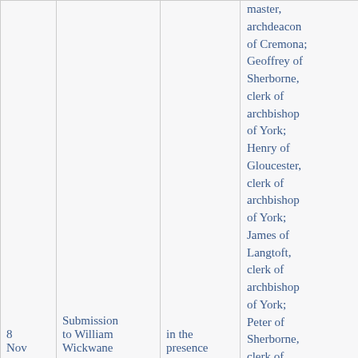| Date | Description | Place | Witnesses | Reference |
| --- | --- | --- | --- | --- |
| 8 Nov | Submission to William Wickwane | in the presence | master, archdeacon of Cremona; Geoffrey of Sherborne, clerk of archbishop of York; Henry of Gloucester, clerk of archbishop of York; James of Langtoft, clerk of archbishop of York; Peter of Sherborne, clerk of archbishop | 2/12/30 (BL, Lansdo... |